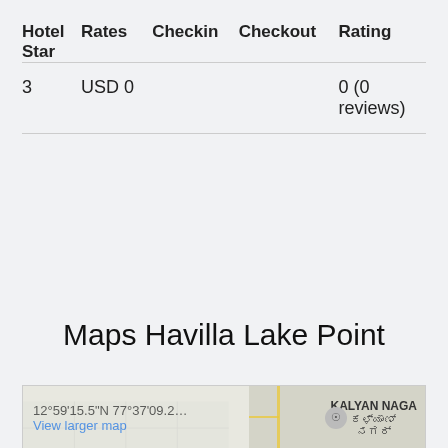| Hotel Star | Rates | Checkin | Checkout | Rating |
| --- | --- | --- | --- | --- |
| 3 | USD 0 |  |  | 0 (0 reviews) |
[Figure (other): Red BOOK NOW button with pointer hand cursor icon]
Maps Havilla Lake Point
[Figure (map): Google Maps snippet showing location at 12°59'15.5"N 77°37'09.2... with View larger map link and KALYAN NAGA area label in English and Kannada script]